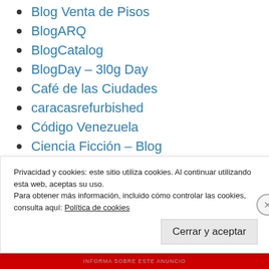Blog Venta de Pisos
BlogARQ
BlogCatalog
BlogDay – 3l0g Day
Café de las Ciudades
caracasrefurbished
Código Venezuela
Ciencia Ficción – Blog
Citizendium
Clarín.com
Cosas que pasaban por aquí
Privacidad y cookies: este sitio utiliza cookies. Al continuar utilizando esta web, aceptas su uso.
Para obtener más información, incluido cómo controlar las cookies, consulta aquí: Política de cookies
Cerrar y aceptar